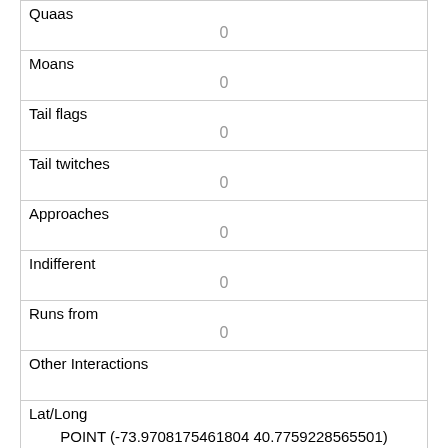| Quaas | 0 |
| Moans | 0 |
| Tail flags | 0 |
| Tail twitches | 0 |
| Approaches | 0 |
| Indifferent | 0 |
| Runs from | 0 |
| Other Interactions |  |
| Lat/Long | POINT (-73.9708175461804 40.7759228565501) |
| Link | 2445 |